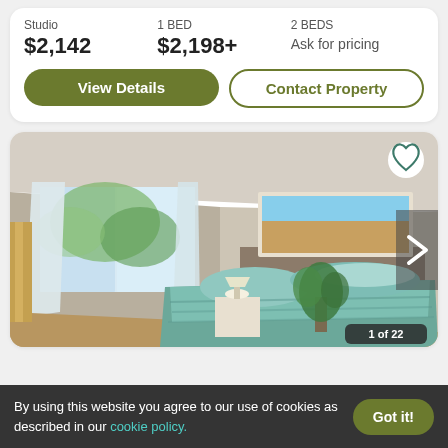Studio  |  1 BED  |  2 BEDS
$2,142    $2,198+    Ask for pricing
View Details
Contact Property
[Figure (photo): Interior bedroom photo showing a bed with teal/blue-green bedding, white curtains, a window with greenery outside, a plant, a nightstand with lamp, and a framed landscape painting above the headboard. A navigation arrow is visible on the right side.]
1 of 22
By using this website you agree to our use of cookies as described in our cookie policy.
Got it!